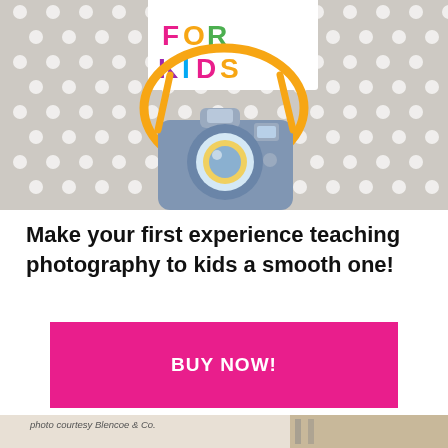[Figure (illustration): Colorful kids photography book cover illustration with 'FOR KIDS' text in rainbow colors, a cartoon camera with a yellow strap, on a grey polka-dot background]
Make your first experience teaching photography to kids a smooth one!
BUY NOW!
[Figure (photo): Partial photo strip at bottom with caption 'photo courtesy Blencoe & Co.' showing a child learning photography]